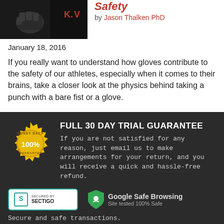[Figure (photo): Photo of a fist/boxing glove on dark background]
Safety
by Jason Thalken PhD
January 18, 2016
If you really want to understand how gloves contribute to the safety of our athletes, especially when it comes to their brains, take a closer look at the physics behind taking a punch with a bare fist or a glove.
[Figure (illustration): 100% Money Back Guarantee gold badge/seal]
FULL 30 DAY TRIAL GUARANTEE
If you are not satisfied for any reason, just email us to make arrangements for your return, and you will receive a quick and hassle-free refund.
[Figure (logo): Secured by Sectigo badge with green border]
[Figure (logo): Google Safe Browsing - Site tested 100% Safe badge]
Secure and safe transactions.